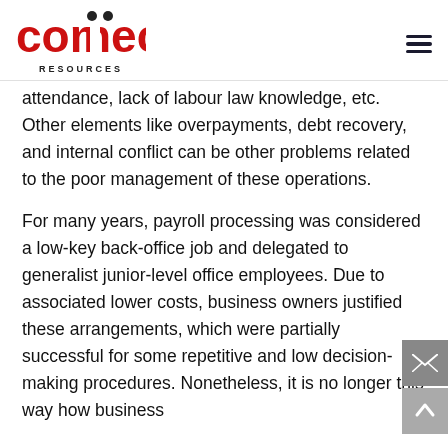Connect Resources
attendance, lack of labour law knowledge, etc. Other elements like overpayments, debt recovery, and internal conflict can be other problems related to the poor management of these operations.
For many years, payroll processing was considered a low-key back-office job and delegated to generalist junior-level office employees. Due to associated lower costs, business owners justified these arrangements, which were partially successful for some repetitive and low decision-making procedures. Nonetheless, it is no longer this way how business